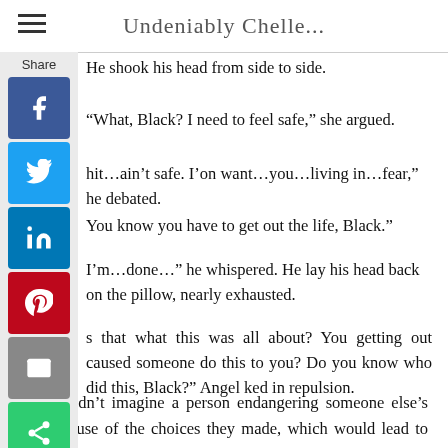Undeniably Chelle...
He shook his head from side to side.
“What, Black? I need to feel safe,” she argued.
hit…ain’t safe. I’on want…you…living in…fear,” he debated.
You know you have to get out the life, Black.”
I’m…done…” he whispered. He lay his head back on the pillow, nearly exhausted.
s that what this was all about? You getting out caused someone do this to you? Do you know who did this, Black?” Angel ked in repulsion.
She couldn’t imagine a person endangering someone else’s life because of the choices they made, which would lead to freedom.